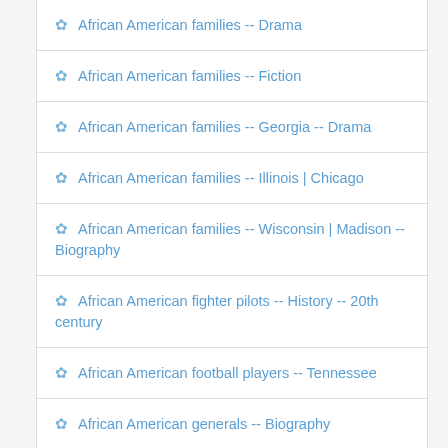African American families -- Drama
African American families -- Fiction
African American families -- Georgia -- Drama
African American families -- Illinois | Chicago
African American families -- Wisconsin | Madison -- Biography
African American fighter pilots -- History -- 20th century
African American football players -- Tennessee
African American generals -- Biography
African American girls -- Fiction
African American homeless persons -- California | Los Angeles